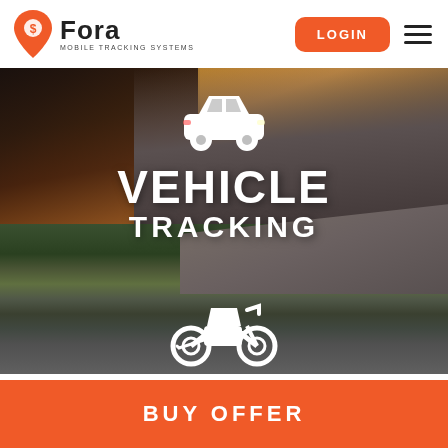[Figure (logo): Fora Mobile Tracking Systems logo with location pin icon in red/orange]
LOGIN
[Figure (photo): Hero image showing a road scene with a car on the left side, mountain road on the right, sunset lighting. Bottom half shows a motorcycle on a curved road. White car icon and motorcycle icon overlaid with text.]
VEHICLE TRACKING
BUY OFFER